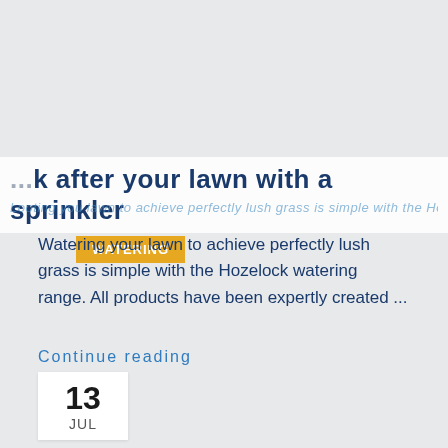WATERING
...k after your lawn with a sprinkler
Watering your lawn to achieve perfectly lush grass is simple with the Hozelock watering range. All products have been expertly created ...
Continue reading
13 JUL